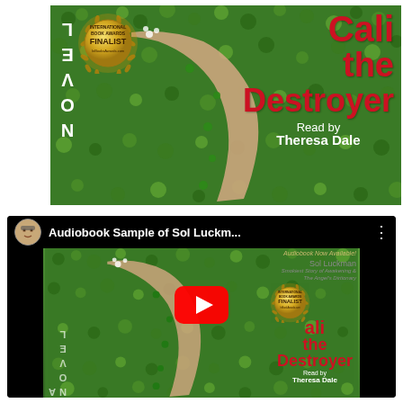[Figure (illustration): Book cover for 'Cali the Destroyer' - a novel by Sol Luckman. Shows a figure lying on a bed of green clover with shamrocks. Text reads 'NOVEL' vertically on left side, 'Cali the Destroyer' in large red serif font, 'Read by Theresa Dale' in white, and an International Book Awards Finalist gold medallion badge.]
[Figure (screenshot): YouTube video thumbnail for 'Audiobook Sample of Sol Luckm...' showing the same book cover for 'Cali the Destroyer' by Sol Luckman, with a YouTube play button overlay, channel avatar, video title 'Audiobook Sample of Sol Luckm...' with three-dot menu, and 'Audiobook Now Available!' text. The book cover shows the International Book Awards Finalist medallion.]